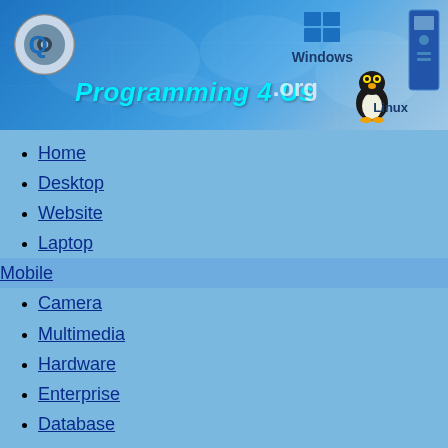[Figure (screenshot): Programming 4 Us website banner with logo, world map background, Windows and Linux logos]
Home
Desktop
Website
Laptop
Mobile
Camera
Multimedia
Hardware
Enterprise
Database
ENHANCED BY
DESKTOP
How To… Mount Pumps & Radiators